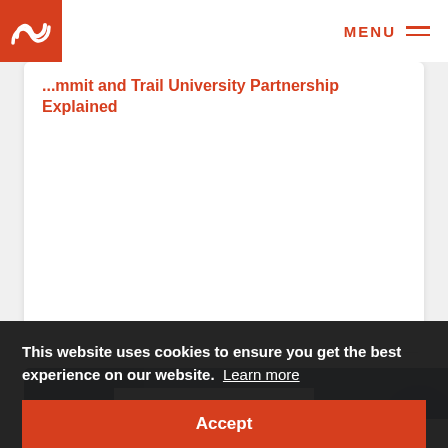MENU
...mmit and Trail University Partnership Explained
[Figure (photo): Sports apparel and red running shoes laid out on white fabric, with a jersey showing number 14]
24 JUNE 2022
...team
This website uses cookies to ensure you get the best experience on our website. Learn more
Accept